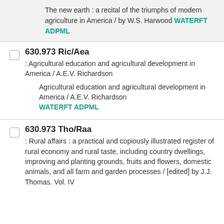The new earth : a recital of the triumphs of modern agriculture in America / by W.S. Harwood WATERFT ADPML
630.973 Ric/Aea
: Agricultural education and agricultural development in America / A.E.V. Richardson
Agricultural education and agricultural development in America / A.E.V. Richardson WATERFT ADPML
630.973 Tho/Raa
: Rural affairs : a practical and copiously illustrated register of rural economy and rural taste, including country dwellings, improving and planting grounds, fruits and flowers, domestic animals, and all farm and garden processes / [edited] by J.J. Thomas. Vol. IV